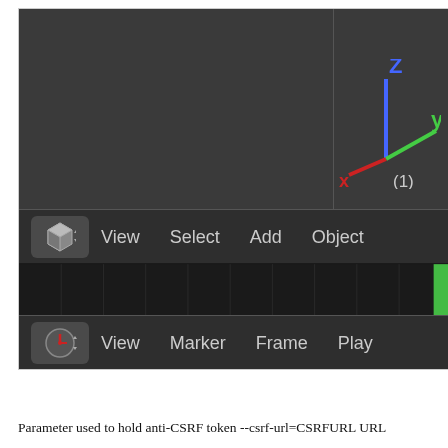[Figure (screenshot): Blender 3D application screenshot showing: a 3D viewport with dark grey background and XYZ axis gizmo (blue Z, green Y, red X axes) labeled (1), a toolbar with View, Select, Add, Object menu items, a timeline editor with grid lines and a green playhead, a ruler showing values -50, -40, -30, -20, -10, 0, and a second toolbar with View, Marker, Frame, Play menu items.]
Parameter used to hold anti-CSRF token --csrf-url=CSRFURL URL